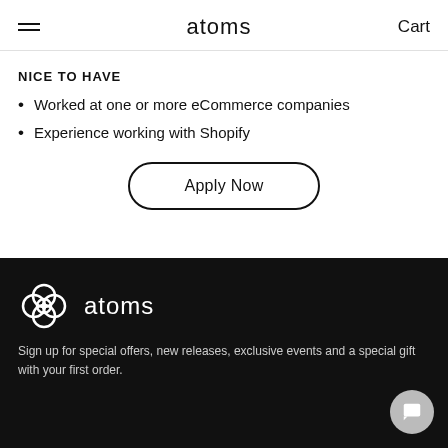atoms  Cart
NICE TO HAVE
Worked at one or more eCommerce companies
Experience working with Shopify
Apply Now
[Figure (logo): Atoms logo — white stylized flower/atom icon followed by the word 'atoms' in white lowercase text on black background]
Sign up for special offers, new releases, exclusive events and a special gift with your first order.